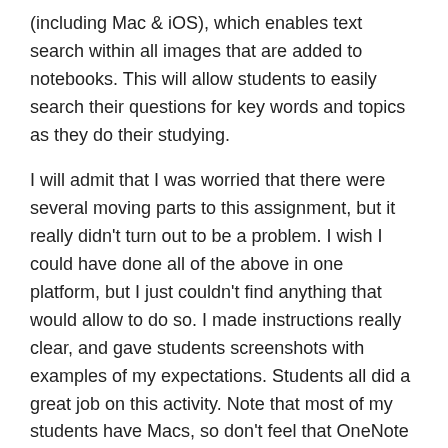(including Mac & iOS), which enables text search within all images that are added to notebooks. This will allow students to easily search their questions for key words and topics as they do their studying.
I will admit that I was worried that there were several moving parts to this assignment, but it really didn't turn out to be a problem. I wish I could have done all of the above in one platform, but I just couldn't find anything that would allow to do so. I made instructions really clear, and gave students screenshots with examples of my expectations. Students all did a great job on this activity. Note that most of my students have Macs, so don't feel that OneNote is limited to only those with PC's!
Share this: